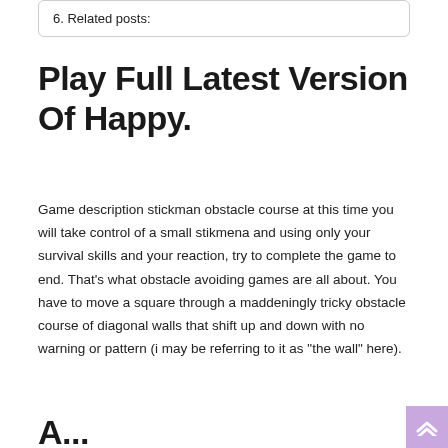6. Related posts:
Play Full Latest Version Of Happy.
Game description stickman obstacle course at this time you will take control of a small stikmena and using only your survival skills and your reaction, try to complete the game to end. That’s what obstacle avoiding games are all about. You have to move a square through a maddeningly tricky obstacle course of diagonal walls that shift up and down with no warning or pattern (i may be referring to it as “the wall” here).
A... The Role Of Y...